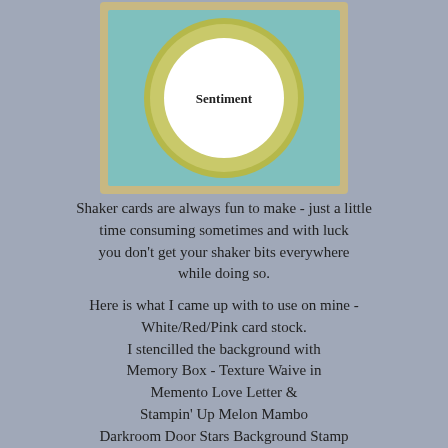[Figure (illustration): A card design showing a teal/light blue background with a tan/khaki border. Inside is a large olive/yellow-green circle ring with a white circle in the center containing the text 'Sentiment'.]
Shaker cards are always fun to make - just a little time consuming sometimes and with luck you don't get your shaker bits everywhere while doing so.
Here is what I came up with to use on mine - White/Red/Pink card stock. I stencilled the background with Memory Box - Texture Waive in Memento Love Letter & Stampin' Up Melon Mambo Darkroom Door Stars Background Stamp Spellbinders Circles/Lacey Circles